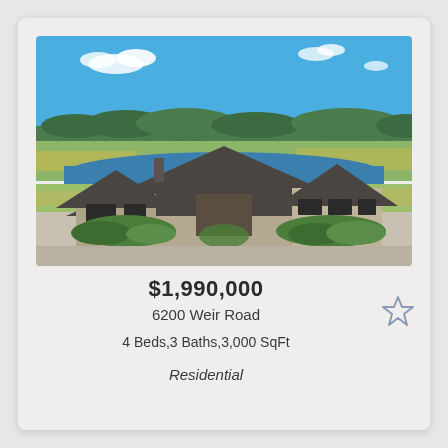[Figure (photo): Aerial view of a large single-story ranch-style home with dark shingle roof, surrounded by landscaped gardens and gravel driveway, with a scenic lake and green open fields visible in the background under a bright blue sky.]
$1,990,000
6200 Weir Road
4 Beds,3 Baths,3,000 SqFt
Residential